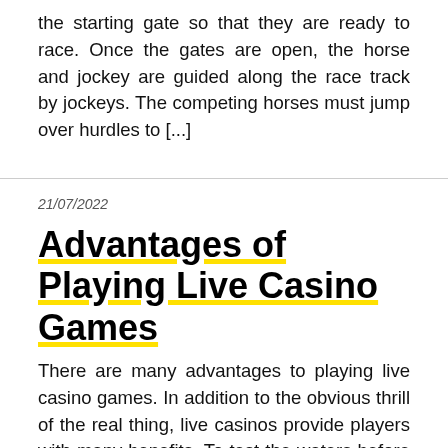the starting gate so that they are ready to race. Once the gates are open, the horse and jockey are guided along the race track by jockeys. The competing horses must jump over hurdles to [...]
21/07/2022
Advantages of Playing Live Casino Games
There are many advantages to playing live casino games. In addition to the obvious thrill of the real thing, live casinos provide players with many benefits. To test the waters before you start betting, try playing a live casino game at your online casino lobby.